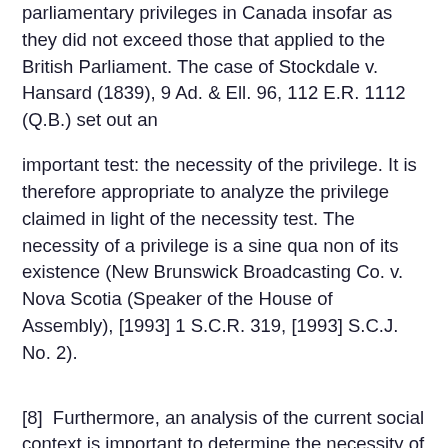parliamentary privileges in Canada insofar as they did not exceed those that applied to the British Parliament. The case of Stockdale v. Hansard (1839), 9 Ad. & Ell. 96, 112 E.R. 1112 (Q.B.) set out an
important test: the necessity of the privilege. It is therefore appropriate to analyze the privilege claimed in light of the necessity test. The necessity of a privilege is a sine qua non of its existence (New Brunswick Broadcasting Co. v. Nova Scotia (Speaker of the House of Assembly), [1993] 1 S.C.R. 319, [1993] S.C.J. No. 2).
[8]  Furthermore, an analysis of the current social context is important to determine the necessity of a